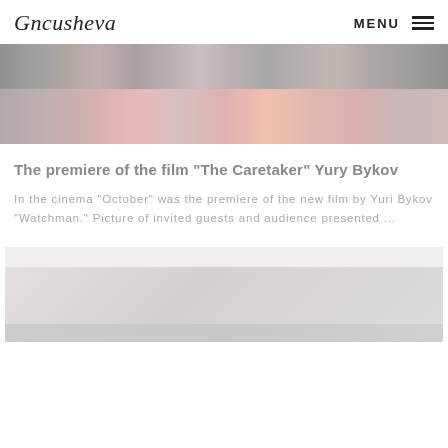Gncusheva  MENU ☰
[Figure (photo): Bottom portion of people standing on a red carpet, showing their feet and lower legs, shoes visible on red surface]
The premiere of the film "The Caretaker" Yury Bykov
In the cinema "October" was the premiere of the new film by Yuri Bykov "Watchman." Picture of invited guests and audience presented ...
[Figure (photo): Partially visible preview image card at the bottom of the page, faded/greyed out]